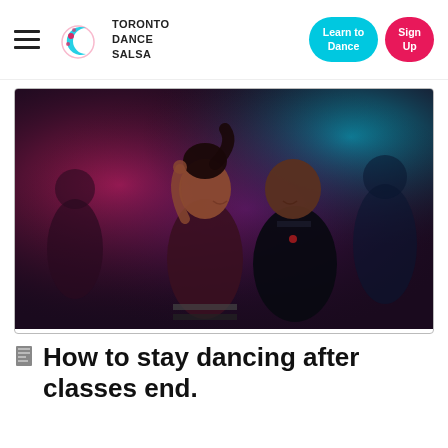Toronto Dance Salsa — navigation bar with Learn to Dance and Sign Up buttons
[Figure (photo): Two people dancing salsa in a dark club with pink and blue/cyan lighting in the background]
How to stay dancing after classes end.